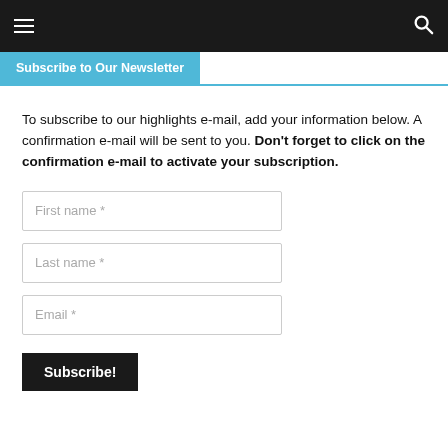Subscribe to Our Newsletter
To subscribe to our highlights e-mail, add your information below. A confirmation e-mail will be sent to you. Don't forget to click on the confirmation e-mail to activate your subscription.
[Figure (infographic): Newsletter subscription form with fields for First name, Last name, Email, and a Subscribe button]
First name *
Last name *
Email *